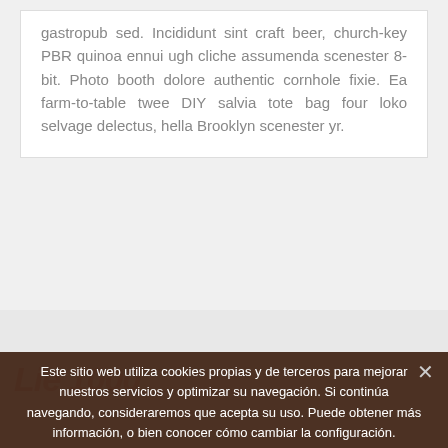gastropub sed. Incididunt sint craft beer, church-key PBR quinoa ennui ugh cliche assumenda scenester 8-bit. Photo booth dolore authentic cornhole fixie. Ea farm-to-table twee DIY salvia tote bag four loko selvage delectus, hella Brooklyn scenester yr.
Este sitio web utiliza cookies propias y de terceros para mejorar nuestros servicios y optimizar su navegación. Si continúa navegando, consideraremos que acepta su uso. Puede obtener más información, o bien conocer cómo cambiar la configuración.
Aceptar
Lo-fi pitchfork organ... eiusmod yr L...